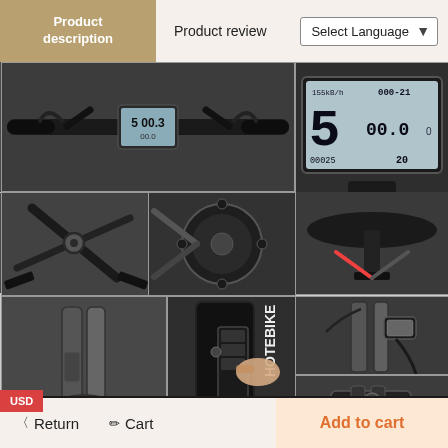Product description | Product review | Select Language
[Figure (photo): Electric bike handlebar with LCD display showing speed and settings]
[Figure (photo): Close-up of LCD display panel showing '5', '00.0', '00025', '20']
[Figure (photo): Electric bike frame folding mechanism and pedals]
[Figure (photo): Electric bike gear/sprocket close-up]
[Figure (photo): Electric bike saddle/seat close-up]
[Figure (photo): Hotebike front fork and wheel close-up]
[Figure (photo): Hotebike frame with battery being inserted by hand]
[Figure (photo): Electric bike front light and fork close-up]
[Figure (photo): Electric bike brake/clamp mechanism close-up]
USD
Return  Cart  Add to cart